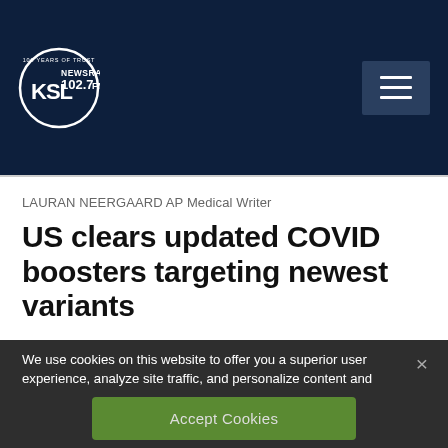[Figure (logo): KSL NewsRadio 102.7FM logo — circular badge with 100 Years of Trust text, white on dark navy background]
LAURAN NEERGAARD AP Medical Writer
US clears updated COVID boosters targeting newest variants
12 hours ago
We use cookies on this website to offer you a superior user experience, analyze site traffic, and personalize content and advertisements. By continuing to use our site, you consent to our use of cookies. Please visit our Privacy Policy for more information.
Accept Cookies